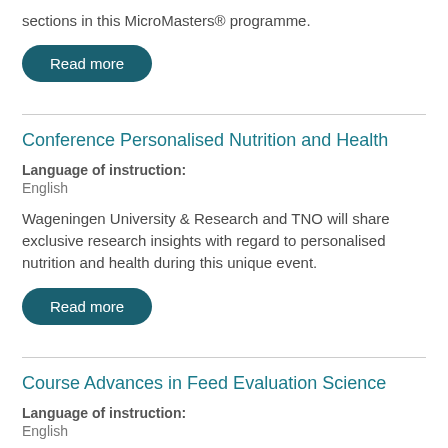sections in this MicroMasters® programme.
Read more
Conference Personalised Nutrition and Health
Language of instruction:
English
Wageningen University & Research and TNO will share exclusive research insights with regard to personalised nutrition and health during this unique event.
Read more
Course Advances in Feed Evaluation Science
Language of instruction:
English